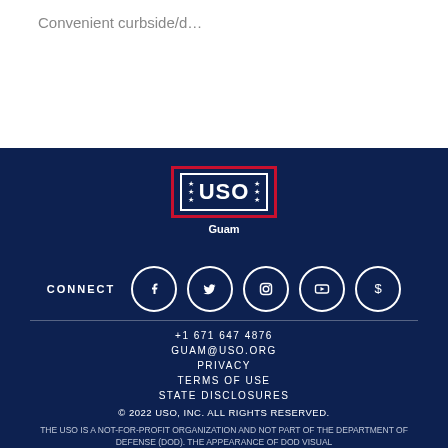Convenient curbside/d…
[Figure (logo): USO logo with stars and red border, with 'Guam' text below]
CONNECT
+1 671 647 4876
GUAM@USO.ORG
PRIVACY
TERMS OF USE
STATE DISCLOSURES
© 2022 USO, INC. ALL RIGHTS RESERVED.
THE USO IS A NOT-FOR-PROFIT ORGANIZATION AND NOT PART OF THE DEPARTMENT OF DEFENSE (DOD). THE APPEARANCE OF DOD VISUAL